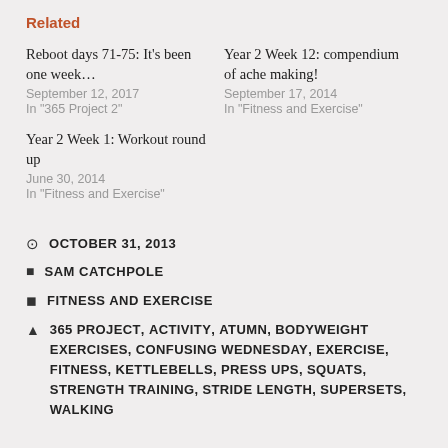Related
Reboot days 71-75: It's been one week…
September 12, 2017
In "365 Project 2"
Year 2 Week 12: compendium of ache making!
September 17, 2014
In "Fitness and Exercise"
Year 2 Week 1: Workout round up
June 30, 2014
In "Fitness and Exercise"
OCTOBER 31, 2013
SAM CATCHPOLE
FITNESS AND EXERCISE
365 PROJECT, ACTIVITY, ATUMN, BODYWEIGHT EXERCISES, CONFUSING WEDNESDAY, EXERCISE, FITNESS, KETTLEBELLS, PRESS UPS, SQUATS, STRENGTH TRAINING, STRIDE LENGTH, SUPERSETS, WALKING